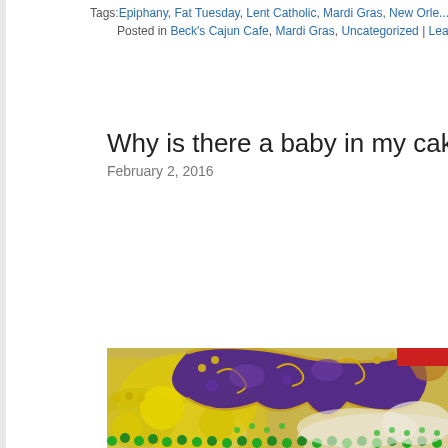Tags: Epiphany, Fat Tuesday, Lent Catholic, Mardi Gras, New Orle...
Posted in Beck's Cajun Cafe, Mardi Gras, Uncategorized | Leave a Co...
Why is there a baby in my cake?
February 2, 2016
[Figure (photo): Close-up photo of a King Cake decorated with Mardi Gras colors — yellow, green, and purple. A decorative purple and gold Mardi Gras masquerade mask is placed on top. Green and gold beaded necklaces are visible around the cake. The cake has colorful sugar sprinkles and decorative sugar coins.]